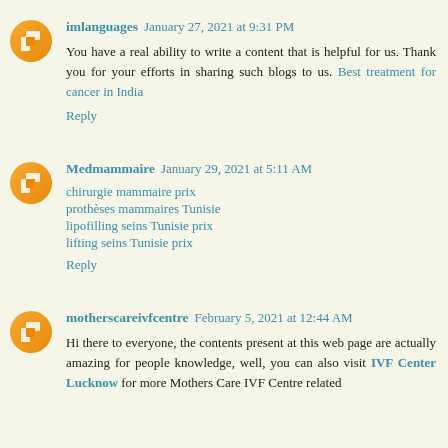imlanguages January 27, 2021 at 9:31 PM
You have a real ability to write a content that is helpful for us. Thank you for your efforts in sharing such blogs to us. Best treatment for cancer in India
Reply
Medmammaire January 29, 2021 at 5:11 AM
chirurgie mammaire prix
prothèses mammaires Tunisie
lipofilling seins Tunisie prix
lifting seins Tunisie prix
Reply
motherscareivfcentre February 5, 2021 at 12:44 AM
Hi there to everyone, the contents present at this web page are actually amazing for people knowledge, well, you can also visit IVF Center Lucknow for more Mothers Care IVF Centre related